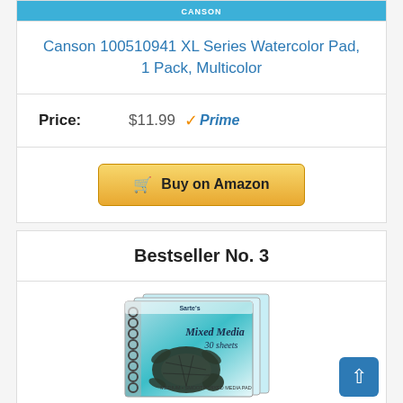[Figure (photo): Canson watercolor pad product image strip (teal/blue packaging)]
Canson 100510941 XL Series Watercolor Pad, 1 Pack, Multicolor
Price: $11.99 ✓Prime
Buy on Amazon
Bestseller No. 3
[Figure (photo): Sarte's Mixed Media 30 sheets spiral-bound art pad with sea turtle cover design, shown as a pack of 3 books]